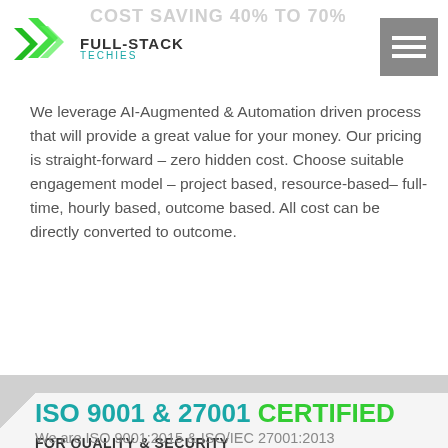COST SAVING 40% TO 70%
[Figure (logo): Full-Stack Techies logo with green angular arrow icon and company name]
We leverage AI-Augmented & Automation driven process that will provide a great value for your money. Our pricing is straight-forward – zero hidden cost. Choose suitable engagement model – project based, resource-based– full-time, hourly based, outcome based. All cost can be directly converted to outcome.
ISO 9001 & 27001 CERTIFIED
FOR QUALITY & SECURITY
We are ISO 9001:2015 & ISO/IEC 27001:2013